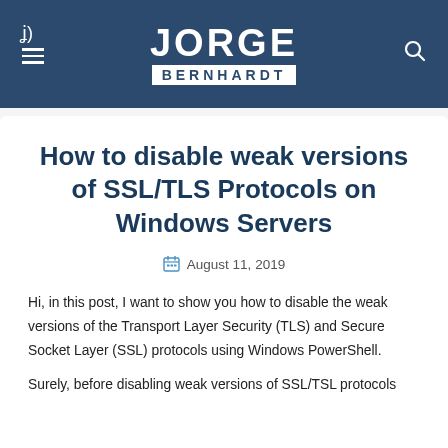JORGE BERNHARDT
How to disable weak versions of SSL/TLS Protocols on Windows Servers
August 11, 2019
Hi, in this post, I want to show you how to disable the weak versions of the Transport Layer Security (TLS) and Secure Socket Layer (SSL) protocols using Windows PowerShell.
Surely, before disabling weak versions of SSL/TSL protocols